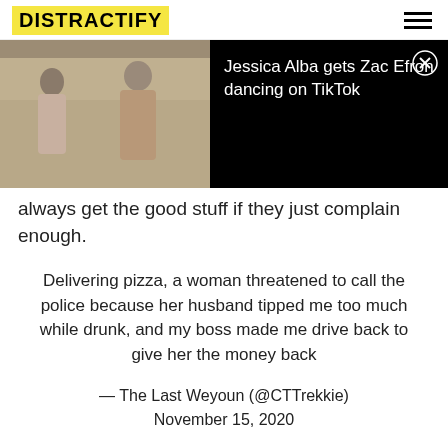DISTRACTIFY
[Figure (screenshot): Video thumbnail showing two people (a woman and a man) with a play button overlay, alongside a black panel with text 'Jessica Alba gets Zac Efron dancing on TikTok' and a close button.]
always get the good stuff if they just complain enough.
Delivering pizza, a woman threatened to call the police because her husband tipped me too much while drunk, and my boss made me drive back to give her the money back
— The Last Weyoun (@CTTrekkie) November 15, 2020